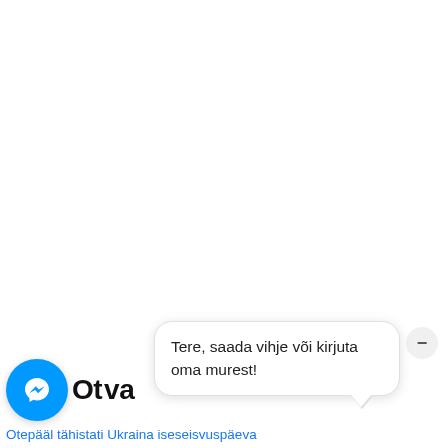[Figure (screenshot): Screenshot of a webpage bottom section showing a Facebook Messenger chat widget with a blue circular icon and a chat bubble message in Estonian: 'Tere, saada vihje või kirjuta oma murest!' and a footer link 'Otepääl tähistati Ukraina iseseisvuspäeva']
Tere, saada vihje või kirjuta oma murest!
Otepääl tähistati Ukraina iseseisvuspäeva